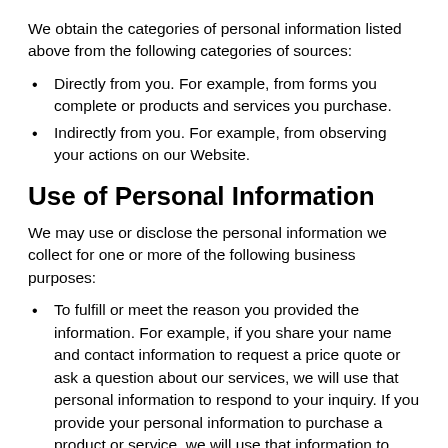We obtain the categories of personal information listed above from the following categories of sources:
Directly from you. For example, from forms you complete or products and services you purchase.
Indirectly from you. For example, from observing your actions on our Website.
Use of Personal Information
We may use or disclose the personal information we collect for one or more of the following business purposes:
To fulfill or meet the reason you provided the information. For example, if you share your name and contact information to request a price quote or ask a question about our services, we will use that personal information to respond to your inquiry. If you provide your personal information to purchase a product or service, we will use that information to process your payment and facilitate delivery. We may also save your information to facilitate